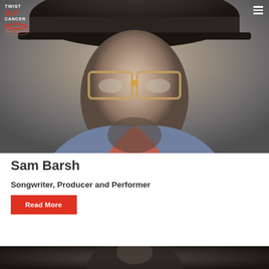TWIST OUT CANCER
[Figure (photo): Portrait photo of Sam Barsh, a man wearing a wide-brimmed hat and distinctive clear-framed glasses with amber nose bridge, stubble beard, in a chambray shirt, photographed against a grey background]
Sam Barsh
Songwriter, Producer and Performer
Read More
[Figure (photo): Partial view of another performer photo at the bottom of the page, dark/dimly lit image]